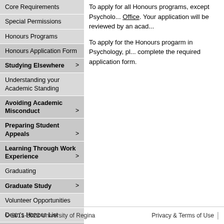Core Requirements
Special Permissions
Honours Programs
Honours Application Form
Studying Elsewhere >
Understanding your Academic Standing
Avoiding Academic Misconduct >
Preparing Student Appeals >
Learning Through Work Experience >
Graduating
Graduate Study >
Volunteer Opportunities
Dean's Honour List
Staff >
To apply for all Honours programs, except Psychology, Office. Your application will be reviewed by an acad...
To apply for the Honours progarm in Psychology, pl... complete the required application form.
© 2011-2022 University of Regina   Privacy & Terms of Use